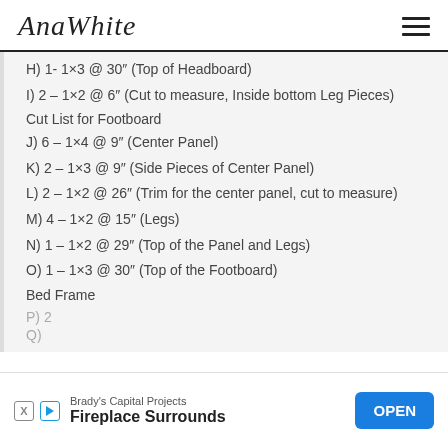AnaWhite
H) 1- 1×3 @ 30" (Top of Headboard)
I) 2 – 1×2 @ 6" (Cut to measure, Inside bottom Leg Pieces)
Cut List for Footboard
J) 6 – 1×4 @ 9" (Center Panel)
K) 2 – 1×3 @ 9" (Side Pieces of Center Panel)
L) 2 – 1×2 @ 26" (Trim for the center panel, cut to measure)
M) 4 – 1×2 @ 15" (Legs)
N) 1 – 1×2 @ 29" (Top of the Panel and Legs)
O) 1 – 1×3 @ 30" (Top of the Footboard)
Bed Frame
P) 2...
Q) ...